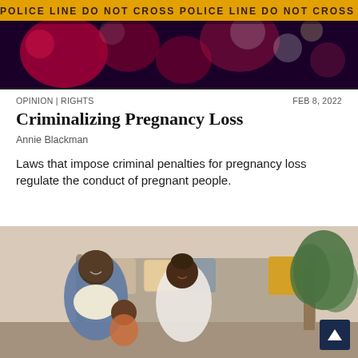[Figure (photo): Police line do not cross banner with red flashing lights in background — crime scene tape at night]
OPINION | RIGHTS
FEB 8, 2022
Criminalizing Pregnancy Loss
Annie Blackman
Laws that impose criminal penalties for pregnancy loss regulate the conduct of pregnant people.
[Figure (photo): A Black family — man, woman, and child — sitting on floor in living room, smiling and playing together, with a plant and couch in background]